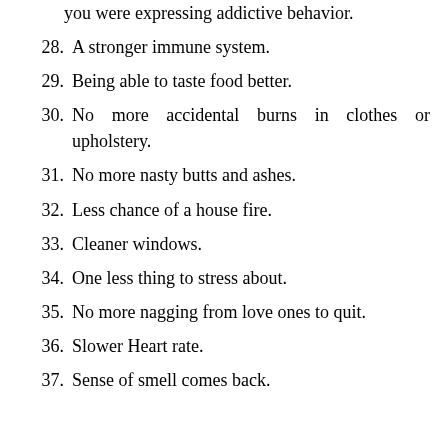you were expressing addictive behavior.
28. A stronger immune system.
29. Being able to taste food better.
30. No more accidental burns in clothes or upholstery.
31. No more nasty butts and ashes.
32. Less chance of a house fire.
33. Cleaner windows.
34. One less thing to stress about.
35. No more nagging from love ones to quit.
36. Slower Heart rate.
37. Sense of smell comes back.